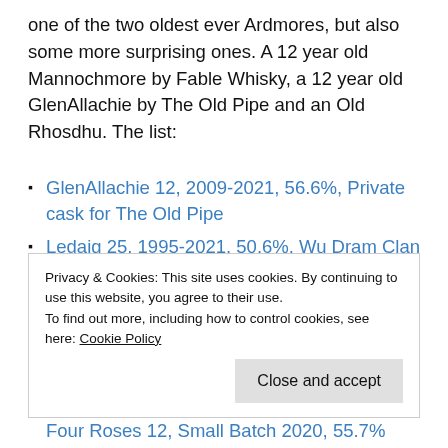one of the two oldest ever Ardmores, but also some more surprising ones. A 12 year old Mannochmore by Fable Whisky, a 12 year old GlenAllachie by The Old Pipe and an Old Rhosdhu. The list:
GlenAllachie 12, 2009-2021, 56.6%, Private cask for The Old Pipe
Ledaig 25, 1995-2021, 50.6%, Wu Dram Clan
Cameronbridge 46, 1974-2021, 40.1%, Boogieman Import
North of Scotland 49, 1971-2021, 40.4%, Boogieman
Privacy & Cookies: This site uses cookies. By continuing to use this website, you agree to their use.
To find out more, including how to control cookies, see here: Cookie Policy
Four Roses 12, Small Batch 2020, 55.7%